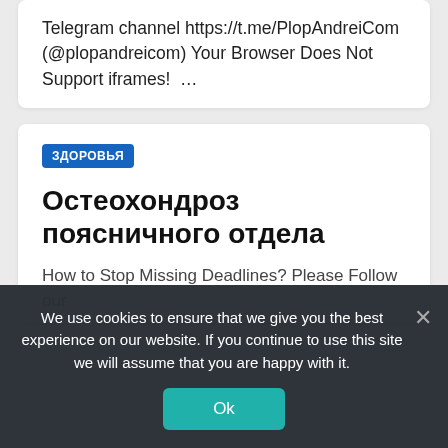Telegram channel https://t.me/PlopAndreiCom (@plopandreicom) Your Browser Does Not Support iframes!  …
ЗДОРОВЬЯ
Остеохондроз поясничного отдела
How to Stop Missing Deadlines? Please Follow our
We use cookies to ensure that we give you the best experience on our website. If you continue to use this site we will assume that you are happy with it.